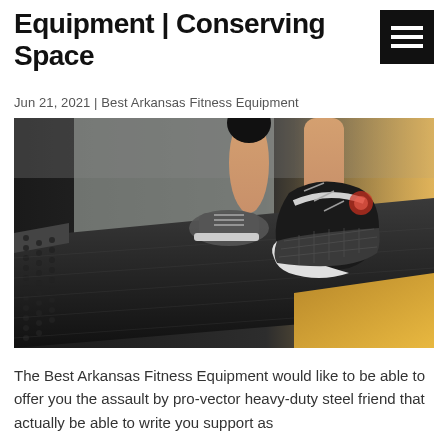Equipment | Conserving Space
Jun 21, 2021 | Best Arkansas Fitness Equipment
[Figure (photo): Close-up photo of a person running on a treadmill, showing the underside of a sneaker mid-stride on the dark treadmill belt, with gym flooring visible in the background and warm light from the right side.]
The Best Arkansas Fitness Equipment would like to be able to offer you the assault by pro-vector heavy-duty steel friend that actually be able to write you support as